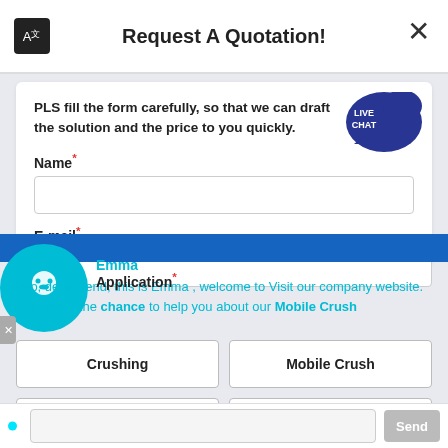Request A Quotation!
PLS fill the form carefully, so that we can draft the solution and the price to you quickly.
Name*
E-mail*
Emma
Hello, dear friend, this is Emma , welcome to Visit our company website. Shall i have the chance to help you about our
Application*
Crushing
Mobile Crush
Sand Making
Grinding
Capacity*
>50 TPH
>30 TPH
<10 TPH